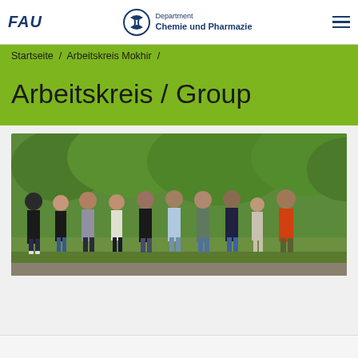FAU | Department Chemie und Pharmazie
Startseite / Arbeitskreis Mokhir /
Arbeitskreis / Group
[Figure (photo): Group photo of approximately 10 researchers/students standing outdoors in a park-like setting with green trees in the background.]